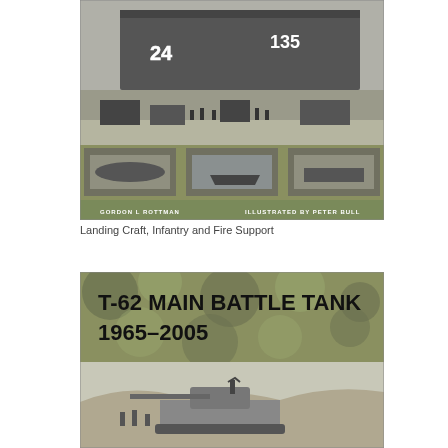[Figure (photo): Book cover: Landing Craft Infantry and Fire Support, black and white photo of landing craft with vehicles and personnel on a beach, three smaller photos of boats at bottom, authors Gordon L Rottman illustrated by Peter Bull]
Landing Craft, Infantry and Fire Support
[Figure (photo): Book cover: T-62 Main Battle Tank 1965-2005, top portion shows olive/camouflage pattern background with bold black text title, bottom portion shows black and white photo of tank in desert with soldiers]
T-62 MAIN BATTLE TANK 1965–2005